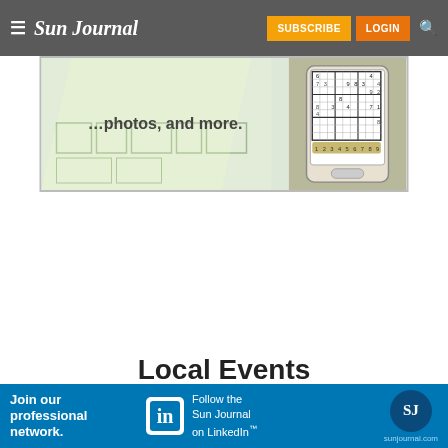Sun Journal — SUBSCRIBE | LOGIN
[Figure (screenshot): Advertisement showing blueprint/floor plan images with text 'photos, and more.' on a green-tinted background, alongside a phone displaying a Sudoku puzzle app]
Local Events
[Figure (infographic): LinkedIn banner advertisement: 'Join our professional network. Follow the Sun Journal on LinkedIn™' with LinkedIn logo and sunjournal.com branding]